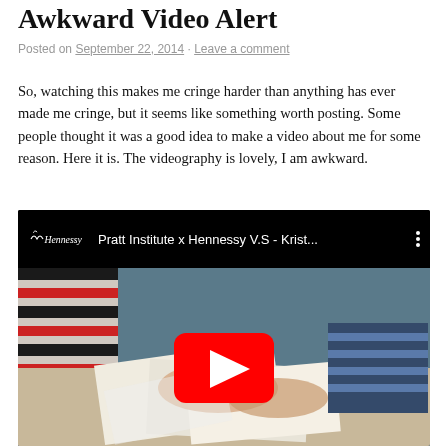Awkward Video Alert
Posted on September 22, 2014 · Leave a comment
So, watching this makes me cringe harder than anything has ever made me cringe, but it seems like something worth posting. Some people thought it was a good idea to make a video about me for some reason. Here it is. The videography is lovely, I am awkward.
[Figure (screenshot): Embedded YouTube video thumbnail showing 'Pratt Institute x Hennessy V.S - Krist...' with Hennessy logo. The thumbnail shows hands flipping through design sketches/prints on a table, with a person wearing a black and white striped top. A red YouTube play button is centered on the thumbnail.]